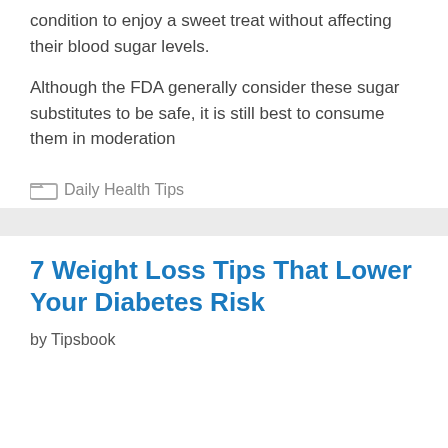condition to enjoy a sweet treat without affecting their blood sugar levels.
Although the FDA generally consider these sugar substitutes to be safe, it is still best to consume them in moderation
Daily Health Tips
7 Weight Loss Tips That Lower Your Diabetes Risk
by Tipsbook